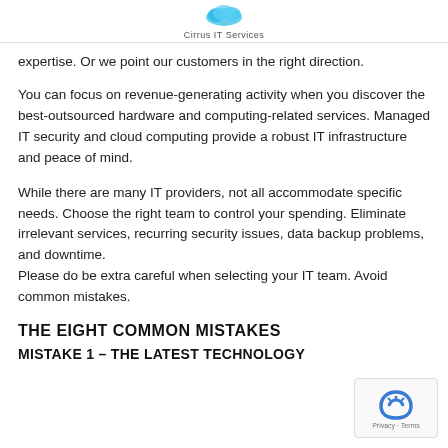Cirrus IT Services
expertise. Or we point our customers in the right direction.
You can focus on revenue-generating activity when you discover the best-outsourced hardware and computing-related services. Managed IT security and cloud computing provide a robust IT infrastructure and peace of mind.
While there are many IT providers, not all accommodate specific needs. Choose the right team to control your spending. Eliminate irrelevant services, recurring security issues, data backup problems, and downtime. Please do be extra careful when selecting your IT team. Avoid common mistakes.
THE EIGHT COMMON MISTAKES
MISTAKE 1 – THE LATEST TECHNOLOGY